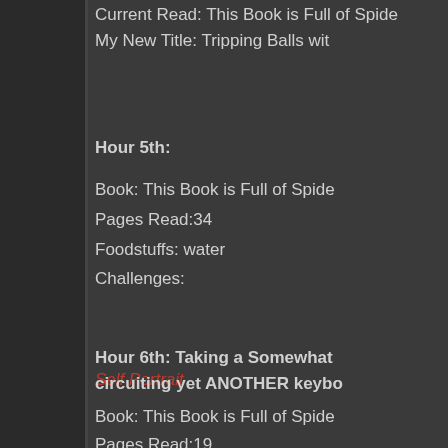Current Read: This Book is Full of...
My New Title: Tripping Balls wit...
Hour 5th:
Book: This Book is Full of Spide...
Pages Read: 34
Foodstuffs: water
Challenges:
Self Portrait
Hour 6th: Taking a Somewhat circuiting yet ANOTHER keybo...
Book: This Book is Full of Spide...
Pages Read: 19